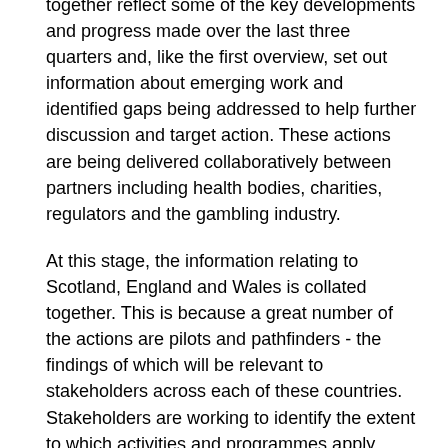together reflect some of the key developments and progress made over the last three quarters and, like the first overview, set out information about emerging work and identified gaps being addressed to help further discussion and target action. These actions are being delivered collaboratively between partners including health bodies, charities, regulators and the gambling industry.
At this stage, the information relating to Scotland, England and Wales is collated together. This is because a great number of the actions are pilots and pathfinders - the findings of which will be relevant to stakeholders across each of these countries. Stakeholders are working to identify the extent to which activities and programmes apply across Great Britain, to understand actions and gaps, and coordinate activity for prevention and education, and treatment and support more effectively.